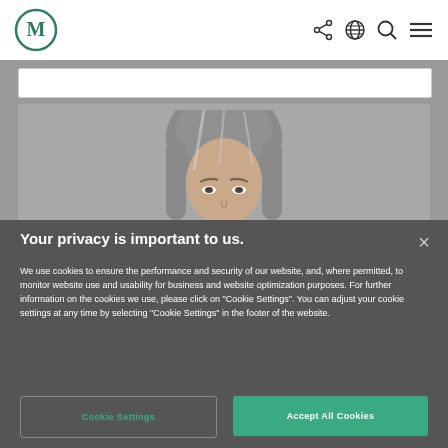[Figure (screenshot): Website navigation bar with a green 'M' logo in a circle on the left, and icons (share, globe, search, menu) on the right, with a search input bar below]
[Figure (photo): Partial photo of a person's face with gray-streaked hair, visible from the top of the head to around the eyes, set against a gray/muted background]
Your privacy is important to us.
We use cookies to ensure the performance and security of our website, and, where permitted, to monitor website use and usability for business and website optimization purposes. For further information on the cookies we use, please click on "Cookie Settings". You can adjust your cookie settings at any time by selecting "Cookie Settings" in the footer of the website.
Cookie Settings
Accept All Cookies